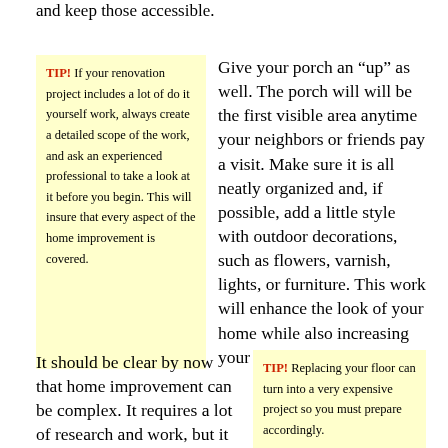and keep those accessible.
TIP! If your renovation project includes a lot of do it yourself work, always create a detailed scope of the work, and ask an experienced professional to take a look at it before you begin. This will insure that every aspect of the home improvement is covered.
Give your porch an “up” as well. The porch will will be the first visible area anytime your neighbors or friends pay a visit. Make sure it is all neatly organized and, if possible, add a little style with outdoor decorations, such as flowers, varnish, lights, or furniture. This work will enhance the look of your home while also increasing your home’s value.
It should be clear by now that home improvement can be complex. It requires a lot of research and work, but it will
TIP! Replacing your floor can turn into a very expensive project so you must prepare accordingly.